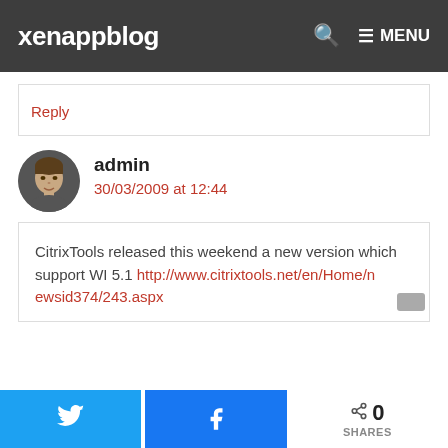xenappblog  🔍  ≡ MENU
Reply
admin
30/03/2009 at 12:44
CitrixTools released this weekend a new version which support WI 5.1 http://www.citrixtools.net/en/Home/newsid374/243.aspx
0 SHARES